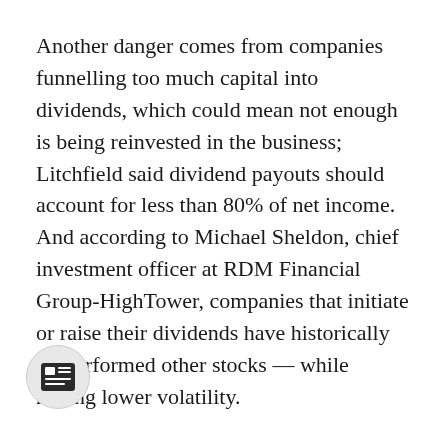Another danger comes from companies funnelling too much capital into dividends, which could mean not enough is being reinvested in the business; Litchfield said dividend payouts should account for less than 80% of net income. And according to Michael Sheldon, chief investment officer at RDM Financial Group-HighTower, companies that initiate or raise their dividends have historically outperformed other stocks — while having lower volatility.
When considering mutual funds and ETFs with dividend tilts, investors should be [aware] of the sectors a fund focuses on. [Some]times funds load up on energy stocks, and you're taking on risk if oil